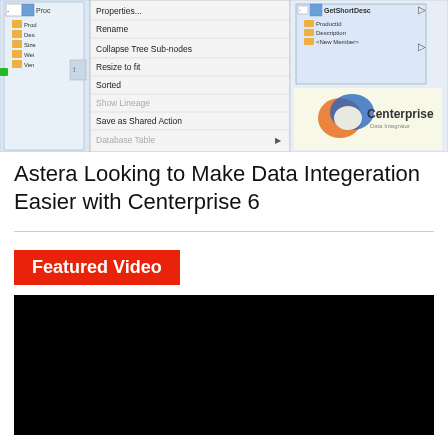[Figure (screenshot): Screenshot of Centerprise Data Integrator software showing a context menu with options: Properties..., Rename, Collapse Tree Sub-nodes, Resize to fit, Sorted, Show Lineage, Save as Shared Action, Database Table. Also shows a data mapping panel with GetShortDesc node containing ProductId, Description, and <New Member> fields. Centerprise logo visible.]
Astera Looking to Make Data Integeration Easier with Centerprise 6
Featured Video
[Figure (screenshot): Black video player area (Featured Video content)]